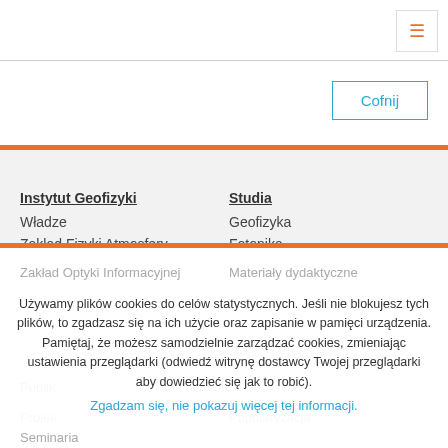Cofnij
Instytut Geofizyki
Władze
Zakład Fizyki Atmosfery
Zakład Fotoniki
Studia
Geofizyka
Fotonika
ESOOiO
Zakład Optyki Informacyjnej    Materiały dydaktyczne
Używamy plików cookies do celów statystycznych. Jeśli nie blokujesz tych plików, to zgadzasz się na ich użycie oraz zapisanie w pamięci urządzenia. Pamiętaj, że możesz samodzielnie zarządzać cookies, zmieniając ustawienia przeglądarki (odwiedź witrynę dostawcy Twojej przeglądarki aby dowiedzieć się jak to robić).
Zgadzam się, nie pokazuj więcej tej informacji.